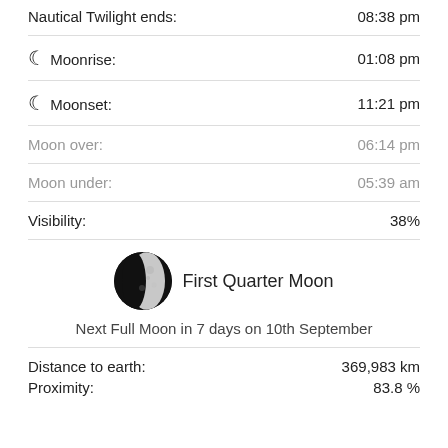Nautical Twilight ends: 08:38 pm
Moonrise: 01:08 pm
Moonset: 11:21 pm
Moon over: 06:14 pm
Moon under: 05:39 am
Visibility: 38%
[Figure (illustration): First Quarter Moon phase image — circular photo of the moon half-lit from the right side]
First Quarter Moon
Next Full Moon in 7 days on 10th September
Distance to earth: 369,983 km
Proximity: 83.8 %